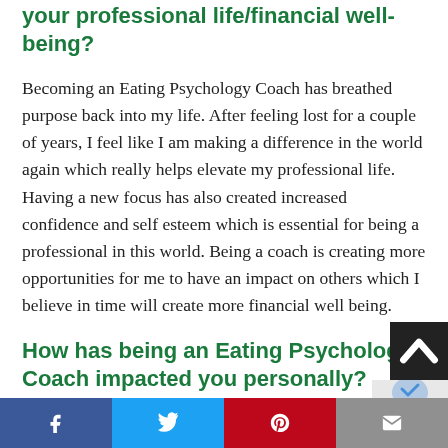your professional life/financial well-being?
Becoming an Eating Psychology Coach has breathed purpose back into my life. After feeling lost for a couple of years, I feel like I am making a difference in the world again which really helps elevate my professional life. Having a new focus has also created increased confidence and self esteem which is essential for being a professional in this world. Being a coach is creating more opportunities for me to have an impact on others which I believe in time will create more financial well being.
How has being an Eating Psychology Coach impacted you personally?
Being an Eating Psychology Coach has impacted me pe... in that I've had to do and continue to do the work on m...